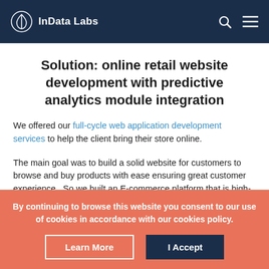InData Labs
Solution: online retail website development with predictive analytics module integration
We offered our full-cycle web application development services to help the client bring their store online.
The main goal was to build a solid website for customers to browse and buy products with ease ensuring great customer experience.  So we built an E-commerce platform that is high-functioning and user-friendly. All the
By continuing to browse this website you consent to our use of cookies in accordance with our cookies policy.
Learn More
I Accept